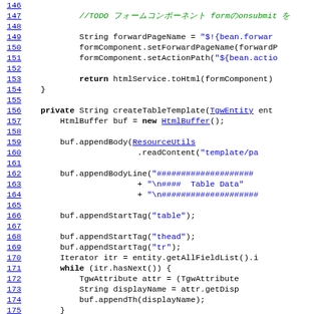[Figure (screenshot): Source code viewer showing Java code lines 146-176 with line numbers in blue on the left and code content on the right. Comments are in green italic, keywords in bold, and hyperlinks in blue underline.]